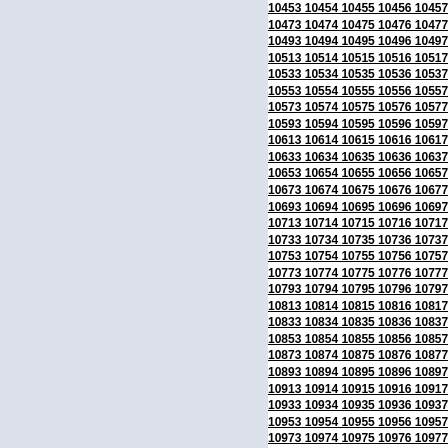Grid of numbers from 10453 to 11081, arranged in rows of 9 columns, incrementing by 1, shown bold and underlined.